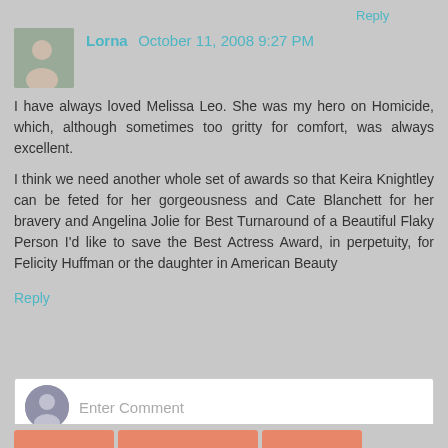Reply
Lorna October 11, 2008 9:27 PM
I have always loved Melissa Leo. She was my hero on Homicide, which, although sometimes too gritty for comfort, was always excellent.
I think we need another whole set of awards so that Keira Knightley can be feted for her gorgeousness and Cate Blanchett for her bravery and Angelina Jolie for Best Turnaround of a Beautiful Flaky Person I'd like to save the Best Actress Award, in perpetuity, for Felicity Huffman or the daughter in American Beauty
Reply
Enter Comment